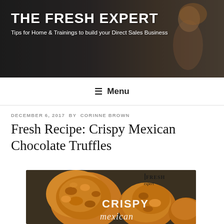[Figure (photo): Website header banner with woman smiling, dark wood background, site title THE FRESH EXPERT and subtitle about direct sales business tips]
THE FRESH EXPERT
Tips for Home & Trainings to build your Direct Sales Business
☰ Menu
DECEMBER 6, 2017 BY CORINNE BROWN
Fresh Recipe: Crispy Mexican Chocolate Truffles
[Figure (photo): Close-up photo of crispy Mexican chocolate truffles coated in crushed corn flakes, with text overlay reading CRISPY mexican in white script, and THE FRESH expert logo in top right corner]